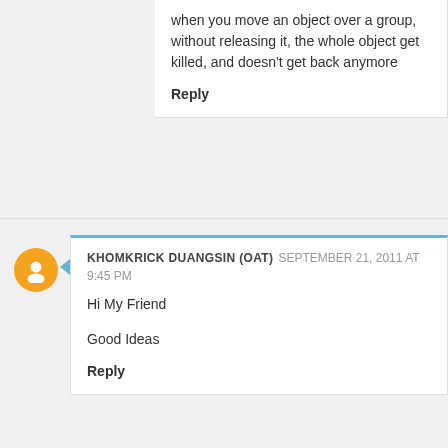when you move an object over a group, without releasing it, the whole object get killed, and doesn't get back anymore
Reply
KHOMKRICK DUANGSIN (OAT) SEPTEMBER 21, 2011 AT 9:45 PM
Hi My Friend
Good Ideas
Reply